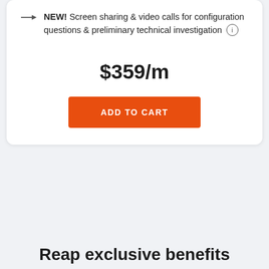NEW! Screen sharing & video calls for configuration questions & preliminary technical investigation
$359/m
ADD TO CART
Reap exclusive benefits